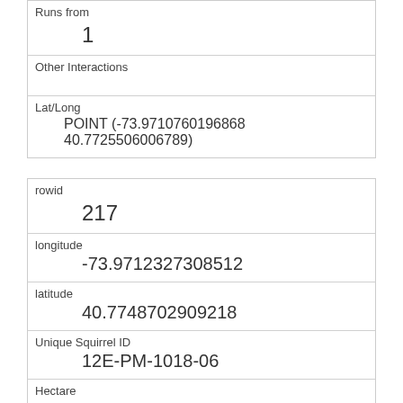| Runs from | 1 |
| Other Interactions |  |
| Lat/Long | POINT (-73.9710760196868 40.7725506006789) |
| rowid | 217 |
| longitude | -73.9712327308512 |
| latitude | 40.7748702909218 |
| Unique Squirrel ID | 12E-PM-1018-06 |
| Hectare | 12E |
| Shift | PM |
| Date | 10182018 |